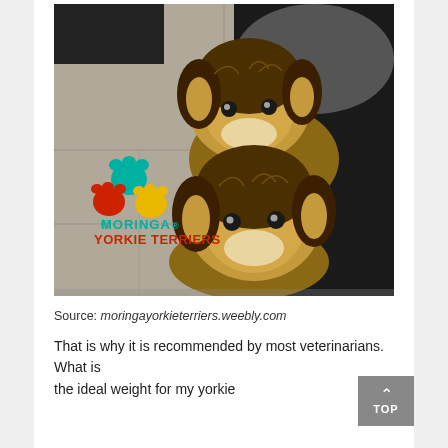[Figure (photo): Two Yorkshire Terrier dogs sitting on a tiled floor against a black background. The photo has a 'Moringa Yorkie Terriers' watermark logo with colorful paw prints in the lower left.]
Source: moringayorkieterriers.weebly.com
That is why it is recommended by most veterinarians. What is the ideal weight for my yorkie...